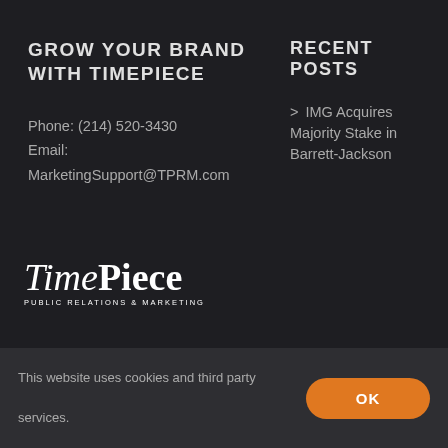GROW YOUR BRAND WITH TIMEPIECE
Phone: (214) 520-3430
Email:
MarketingSupport@TPRM.com
RECENT POSTS
> IMG Acquires Majority Stake in Barrett-Jackson
[Figure (logo): TimePiece Public Relations & Marketing logo in white serif font on dark background]
This website uses cookies and third party services.